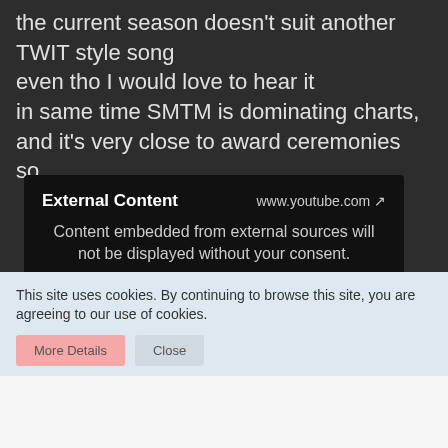the current season doesn't suit another TWIT style song
even tho I would love to hear it
in same time SMTM is dominating charts, and it's very close to award ceremonies so...
[Figure (screenshot): External Content embed box with YouTube URL, message about external content requiring consent, a 'Display all external content' button, and privacy policy note]
This site uses cookies. By continuing to browse this site, you are agreeing to our use of cookies.